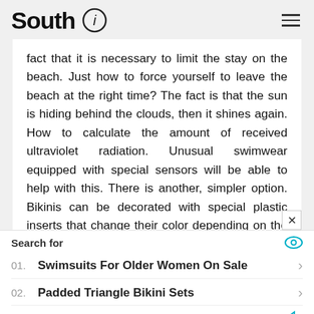South i
fact that it is necessary to limit the stay on the beach. Just how to force yourself to leave the beach at the right time? The fact is that the sun is hiding behind the clouds, then it shines again. How to calculate the amount of received ultraviolet radiation. Unusual swimwear equipped with special sensors will be able to help with this. There is another, simpler option. Bikinis can be decorated with special plastic inserts that change their color depending on the dose of ultraviolet
Search for
01. Swimsuits For Older Women On Sale
02. Padded Triangle Bikini Sets
Yahoo! Search | Sponsored